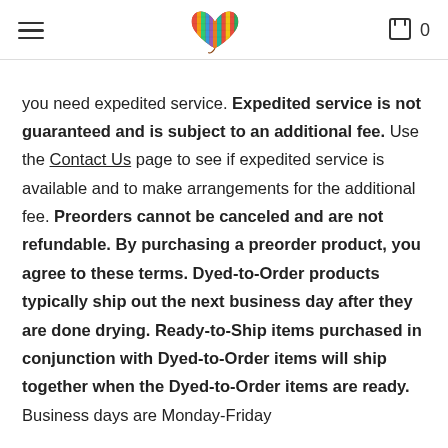[hamburger menu] [yarn heart logo] [cart icon] 0
you need expedited service. Expedited service is not guaranteed and is subject to an additional fee. Use the Contact Us page to see if expedited service is available and to make arrangements for the additional fee. Preorders cannot be canceled and are not refundable. By purchasing a preorder product, you agree to these terms. Dyed-to-Order products typically ship out the next business day after they are done drying. Ready-to-Ship items purchased in conjunction with Dyed-to-Order items will ship together when the Dyed-to-Order items are ready. Business days are Monday-Friday